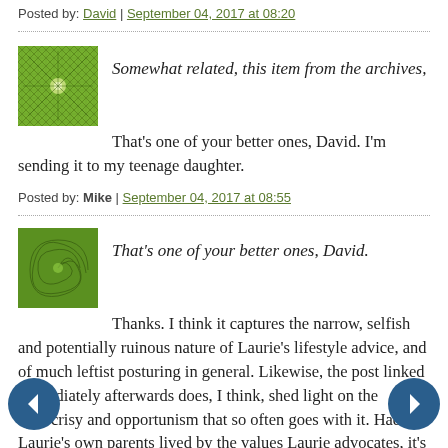Posted by: David | September 04, 2017 at 08:20
Somewhat related, this item from the archives,
That's one of your better ones, David. I'm sending it to my teenage daughter.
Posted by: Mike | September 04, 2017 at 08:55
That's one of your better ones, David.
Thanks. I think it captures the narrow, selfish and potentially ruinous nature of Laurie's lifestyle advice, and of much leftist posturing in general. Likewise, the post linked immediately afterwards does, I think, shed light on the hypocrisy and opportunism that so often goes with it. Had Laurie's own parents lived by the values Laurie advocates, it's doubtful, to say the least, that she would be here with us now. And then she'd think that was great.